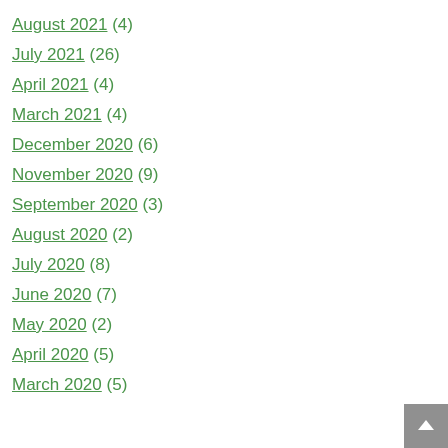August 2021 (4)
July 2021 (26)
April 2021 (4)
March 2021 (4)
December 2020 (6)
November 2020 (9)
September 2020 (3)
August 2020 (2)
July 2020 (8)
June 2020 (7)
May 2020 (2)
April 2020 (5)
March 2020 (5)